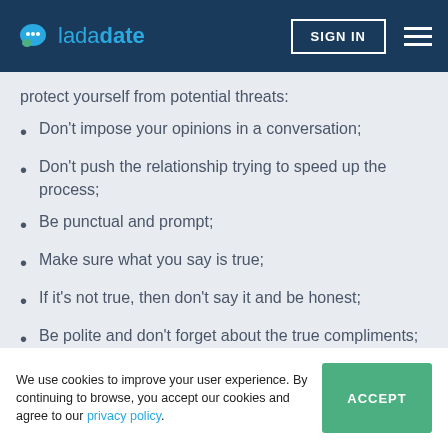ladadate | SIGN IN
protect yourself from potential threats:
Don't impose your opinions in a conversation;
Don't push the relationship trying to speed up the process;
Be punctual and prompt;
Make sure what you say is true;
If it's not true, then don't say it and be honest;
Be polite and don't forget about the true compliments;
We use cookies to improve your user experience. By continuing to browse, you accept our cookies and agree to our privacy policy.